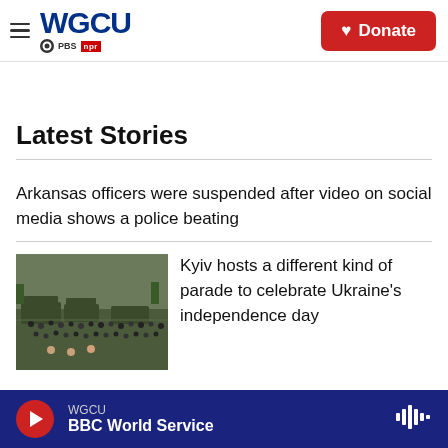WGCU PBS NPR — Donate
Latest Stories
Arkansas officers were suspended after video on social media shows a police beating
[Figure (photo): Crowd of people around military vehicles in a city square, Ukraine independence day parade]
Kyiv hosts a different kind of parade to celebrate Ukraine's independence day
WGCU — BBC World Service (audio player bar)